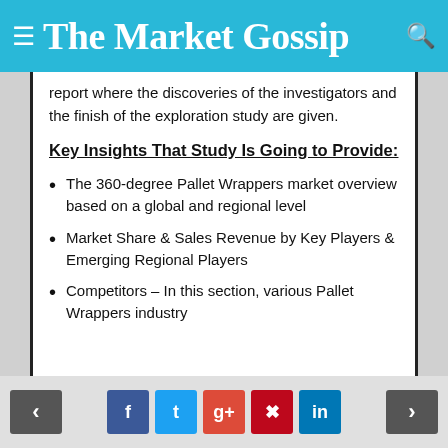The Market Gossip
report where the discoveries of the investigators and the finish of the exploration study are given.
Key Insights That Study Is Going to Provide:
The 360-degree Pallet Wrappers market overview based on a global and regional level
Market Share & Sales Revenue by Key Players & Emerging Regional Players
Competitors – In this section, various Pallet Wrappers industry
Navigation and social share buttons